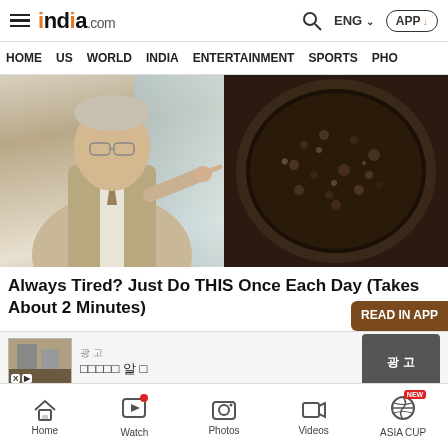india.com — ENG — APP — HOME US WORLD INDIA ENTERTAINMENT SPORTS PHO
[Figure (photo): Composite image: left side shows an older man in a suit with glasses pointing to the right; right side shows a close-up of dark granular material in a round bowl]
Always Tired? Just Do THIS Once Each Day (Takes About 2 Minutes)
[Figure (photo): Advertisement banner with a building image, Korean text, and a dark CTA button]
Home | Watch | Photos | Videos | ASIA CUP